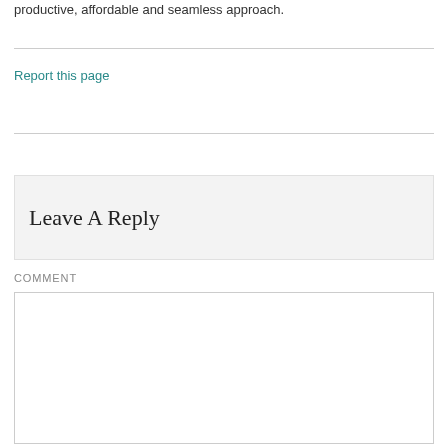productive, affordable and seamless approach.
Report this page
Leave A Reply
COMMENT